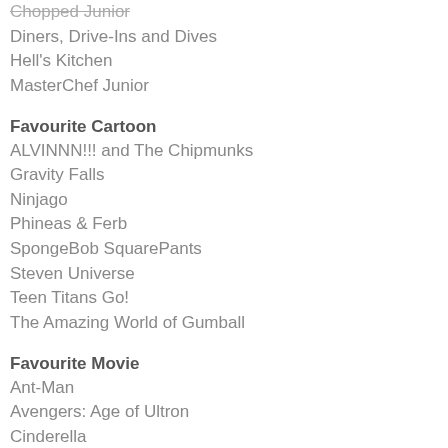Chopped Junior
Diners, Drive-Ins and Dives
Hell's Kitchen
MasterChef Junior
Favourite Cartoon
ALVINNN!!! and The Chipmunks
Gravity Falls
Ninjago
Phineas & Ferb
SpongeBob SquarePants
Steven Universe
Teen Titans Go!
The Amazing World of Gumball
Favourite Movie
Ant-Man
Avengers: Age of Ultron
Cinderella
Daddy's Home
Jurassic World
Pitch Perfect 2
Star Wars: The Force Awakens